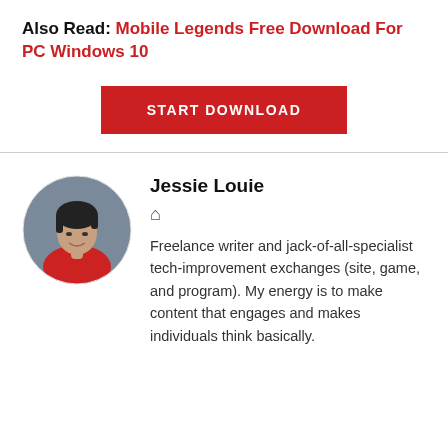Also Read: Mobile Legends Free Download For PC Windows 10
[Figure (other): Red button with white uppercase text reading START DOWNLOAD]
[Figure (photo): Circular avatar photo of Jessie Louie, a woman with short dark hair wearing a red top, against a grey background]
Jessie Louie
🏠
Freelance writer and jack-of-all-specialist tech-improvement exchanges (site, game, and program). My energy is to make content that engages and makes individuals think basically.